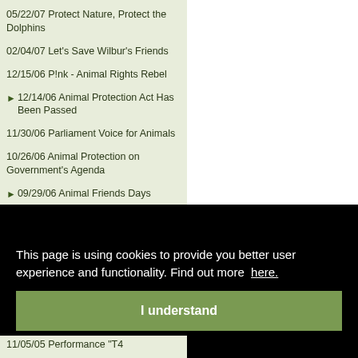05/22/07 Protect Nature, Protect the Dolphins
02/04/07 Let's Save Wilbur's Friends
12/15/06 P!nk - Animal Rights Rebel
12/14/06 Animal Protection Act Has Been Passed
11/30/06 Parliament Voice for Animals
10/26/06 Animal Protection on Government's Agenda
09/29/06 Animal Friends Days
07/16/06 Give the Horses a Life
This page is using cookies to provide you better user experience and functionality. Find out more here.
I understand
11/05/05 Performance "T4